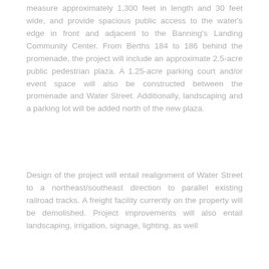measure approximately 1,300 feet in length and 30 feet wide, and provide spacious public access to the water's edge in front and adjacent to the Banning's Landing Community Center. From Berths 184 to 186 behind the promenade, the project will include an approximate 2.5-acre public pedestrian plaza. A 1.25-acre parking court and/or event space will also be constructed between the promenade and Water Street. Additionally, landscaping and a parking lot will be added north of the new plaza.
Design of the project will entail realignment of Water Street to a northeast/southeast direction to parallel existing railroad tracks. A freight facility currently on the property will be demolished. Project improvements will also entail landscaping, irrigation, signage, lighting, as well